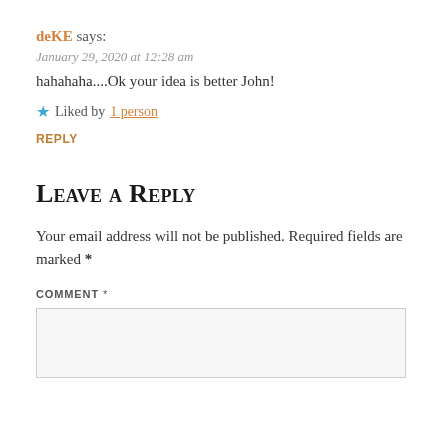deKE says:
January 29, 2020 at 12:28 am
hahahaha....Ok your idea is better John!
★ Liked by 1 person
REPLY
Leave a Reply
Your email address will not be published. Required fields are marked *
COMMENT *